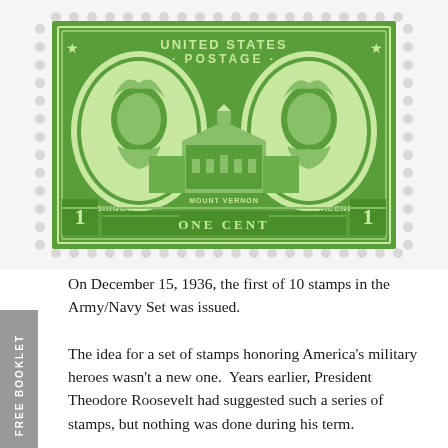[Figure (photo): United States Postage One Cent Army/Navy stamp featuring portraits of Washington and Greene with Mount Vernon in the background, printed in green]
On December 15, 1936, the first of 10 stamps in the Army/Navy Set was issued. The idea for a set of stamps honoring America's military heroes wasn't a new one. Years earlier, President Theodore Roosevelt had suggested such a series of stamps, but nothing was done during his term.
FREE BOOKLET